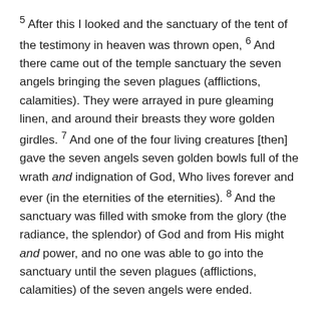5 After this I looked and the sanctuary of the tent of the testimony in heaven was thrown open, 6 And there came out of the temple sanctuary the seven angels bringing the seven plagues (afflictions, calamities). They were arrayed in pure gleaming linen, and around their breasts they wore golden girdles. 7 And one of the four living creatures [then] gave the seven angels seven golden bowls full of the wrath and indignation of God, Who lives forever and ever (in the eternities of the eternities). 8 And the sanctuary was filled with smoke from the glory (the radiance, the splendor) of God and from His might and power, and no one was able to go into the sanctuary until the seven plagues (afflictions, calamities) of the seven angels were ended.